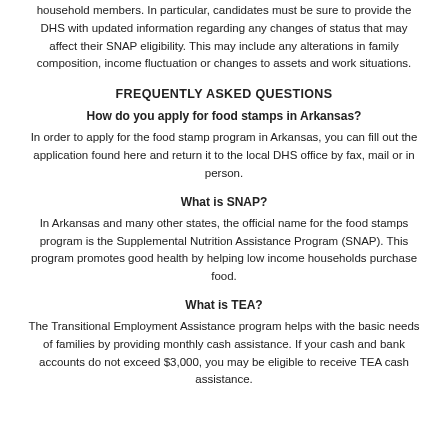household members. In particular, candidates must be sure to provide the DHS with updated information regarding any changes of status that may affect their SNAP eligibility. This may include any alterations in family composition, income fluctuation or changes to assets and work situations.
FREQUENTLY ASKED QUESTIONS
How do you apply for food stamps in Arkansas?
In order to apply for the food stamp program in Arkansas, you can fill out the application found here and return it to the local DHS office by fax, mail or in person.
What is SNAP?
In Arkansas and many other states, the official name for the food stamps program is the Supplemental Nutrition Assistance Program (SNAP). This program promotes good health by helping low income households purchase food.
What is TEA?
The Transitional Employment Assistance program helps with the basic needs of families by providing monthly cash assistance. If your cash and bank accounts do not exceed $3,000, you may be eligible to receive TEA cash assistance.